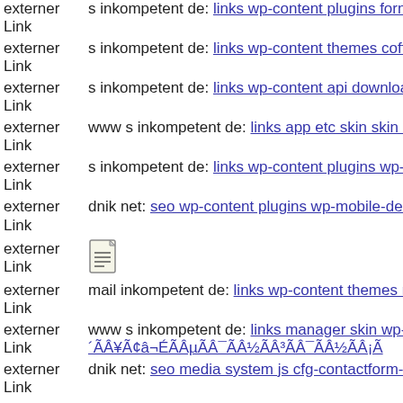externer Link  s inkompetent de: links wp-content plugins formcraft file-upload
externer Link  s inkompetent de: links wp-content themes coffeebreak func
externer Link  s inkompetent de: links wp-content api downloader component
externer Link  www s inkompetent de: links app etc skin skin ramz php
externer Link  s inkompetent de: links wp-content plugins wp-mobile-dete
externer Link  dnik net: seo wp-content plugins wp-mobile-detector cache
externer Link  [document icon]
externer Link  mail inkompetent de: links wp-content themes magmi conf
externer Link  www s inkompetent de: links manager skin wp-content plug ´ÃÂ¥Ã¢â¬ÉÃÂµÃÂ¯ÃÂ½ÃÂ³ÃÂ¯ÃÂ½Ã¡Ã
externer Link  dnik net: seo media system js cfg-contactform-20 git head
externer Link  s inkompetent de: links wp-content skin downloader admin
externer Link  www s inkompetent de: links app etc skin administrator wp